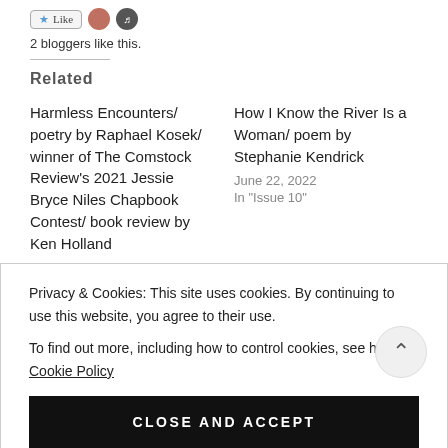2 bloggers like this.
Related
Harmless Encounters/ poetry by Raphael Kosek/ winner of The Comstock Review's 2021 Jessie Bryce Niles Chapbook Contest/ book review by Ken Holland
How I Know the River Is a Woman/ poem by Stephanie Kendrick
June 22, 2022
In "Issue 10"
Privacy & Cookies: This site uses cookies. By continuing to use this website, you agree to their use.
To find out more, including how to control cookies, see here: Cookie Policy
CLOSE AND ACCEPT